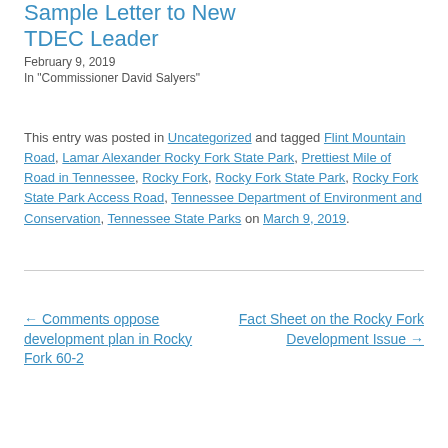Sample Letter to New TDEC Leader
February 9, 2019
In "Commissioner David Salyers"
This entry was posted in Uncategorized and tagged Flint Mountain Road, Lamar Alexander Rocky Fork State Park, Prettiest Mile of Road in Tennessee, Rocky Fork, Rocky Fork State Park, Rocky Fork State Park Access Road, Tennessee Department of Environment and Conservation, Tennessee State Parks on March 9, 2019.
← Comments oppose development plan in Rocky Fork 60-2
Fact Sheet on the Rocky Fork Development Issue →